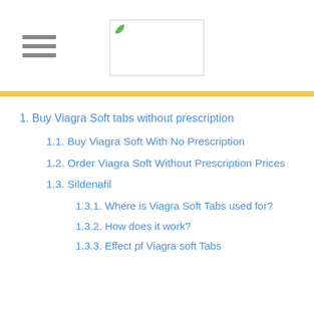1. Buy Viagra Soft tabs without prescription
1.1. Buy Viagra Soft With No Prescription
1.2. Order Viagra Soft Without Prescription Prices
1.3. Sildenafil
1.3.1. Where is Viagra Soft Tabs used for?
1.3.2. How does it work?
1.3.3. Effect pf Viagra soft Tabs